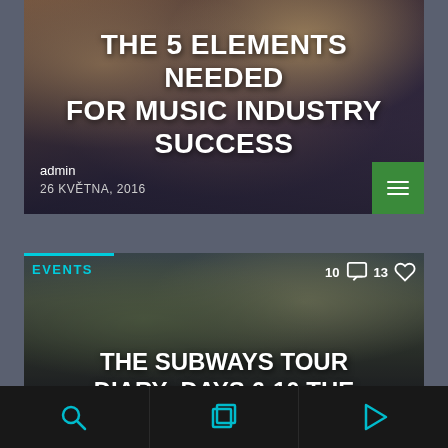[Figure (photo): Party/crowd photo background with people dancing, warm tones]
THE 5 ELEMENTS NEEDED FOR MUSIC INDUSTRY SUCCESS
admin
26 KVĚTNA, 2016
[Figure (photo): Man with beanie outdoors overlooking hilly landscape at dusk]
EVENTS
10 [comments] 13 [likes]
THE SUBWAYS TOUR DIARY: DAYS 6-10 THE
[Figure (other): Bottom navigation bar with search, pages, and play icons]